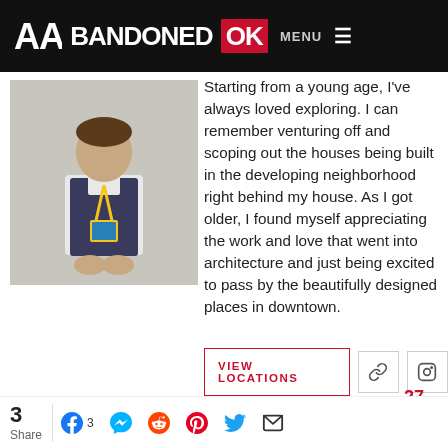ABANDONED OK MENU
[Figure (photo): Person wearing a white shirt and dark vest with a lanyard/badge, standing with hands clasped]
Starting from a young age, I've always loved exploring. I can remember venturing off and scoping out the houses being built in the developing neighborhood right behind my house. As I got older, I found myself appreciating the work and love that went into architecture and just being excited to pass by the beautifully designed places in downtown.
VIEW LOCATIONS
27
3
Share